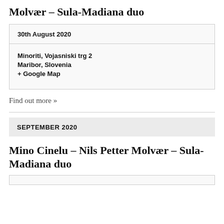Molvær – Sula-Madiana duo
| 30th August 2020 |
| Minoriti, Vojasniski trg 2
Maribor, Slovenia
+ Google Map |
Find out more »
SEPTEMBER 2020
Mino Cinelu – Nils Petter Molvær – Sula-Madiana duo